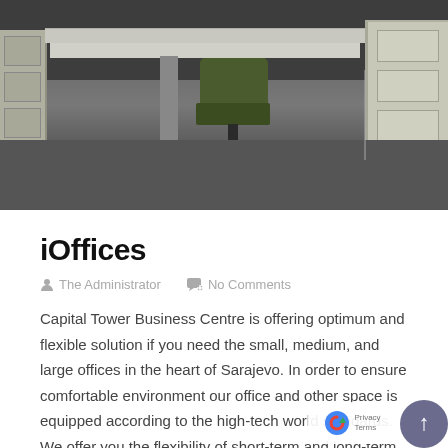[Figure (photo): Interior photo of office space showing desks with adjustable height tables, green office chair, filing cabinets on left and right, dark carpet floor, against dark wall background.]
iOffices
The Administrator   No Comments
Capital Tower Business Centre is offering optimum and flexible solution if you need the small, medium, and large offices in the heart of Sarajevo. In order to ensure comfortable environment our office and other space is equipped according to the high-tech world standards. We offer you the flexibility of short-term and long-term lease of business [...]
Read More